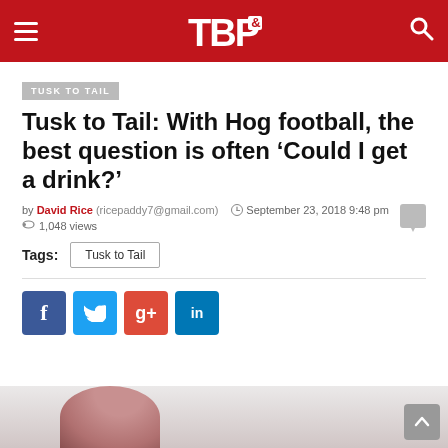TBP
TUSK TO TAIL
Tusk to Tail: With Hog football, the best question is often ‘Could I get a drink?’
by David Rice (ricepaddy7@gmail.com)  September 23, 2018 9:48 pm  1,048 views
Tags: Tusk to Tail
[Figure (other): Social share buttons: Facebook, Twitter, Google+, LinkedIn]
[Figure (photo): Bottom partial image showing a person, partially visible]